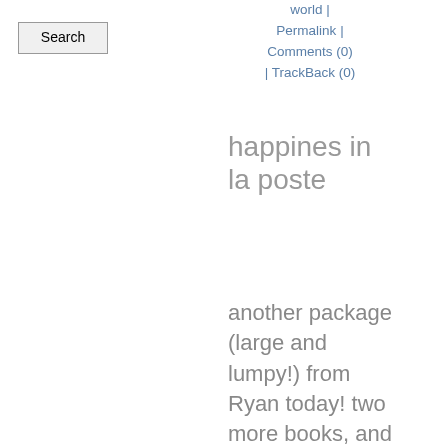Search
world | Permalink | Comments (0) | TrackBack (0)
happines in la poste
another package (large and lumpy!) from Ryan today! two more books, and oh am i hungry for more reads...one, a paperback copy of a favorite (i